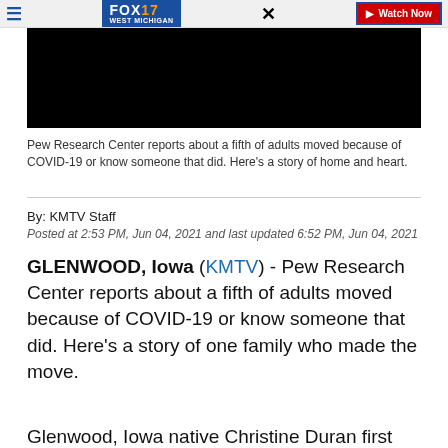FOX 17 WEST MICHIGAN | Watch Now
[Figure (screenshot): Black video player thumbnail]
Pew Research Center reports about a fifth of adults moved because of COVID-19 or know someone that did. Here's a story of home and heart.
By: KMTV Staff
Posted at 2:53 PM, Jun 04, 2021 and last updated 6:52 PM, Jun 04, 2021
GLENWOOD, Iowa (KMTV) - Pew Research Center reports about a fifth of adults moved because of COVID-19 or know someone that did. Here's a story of one family who made the move.
Glenwood, Iowa native Christine Duran first moved to